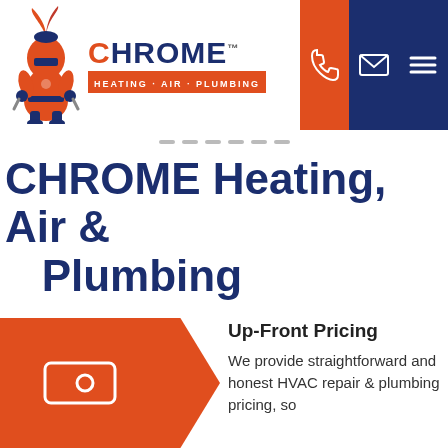[Figure (logo): Chrome Heating Air Plumbing logo with knight mascot and text]
[Figure (infographic): Navigation header with phone icon (orange background), email icon (navy background), and hamburger menu (navy background)]
CHROME Heating, Air & Plumbing
Up-Front Pricing
We provide straightforward and honest HVAC repair & plumbing pricing, so